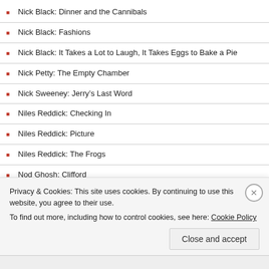Nick Black: Dinner and the Cannibals
Nick Black: Fashions
Nick Black: It Takes a Lot to Laugh, It Takes Eggs to Bake a Pie
Nick Petty: The Empty Chamber
Nick Sweeney: Jerry's Last Word
Niles Reddick: Checking In
Niles Reddick: Picture
Niles Reddick: The Frogs
Nod Ghosh: Clifford
Nod Ghosh: M to F Weekdays
Nod Ghosh: Misty
Privacy & Cookies: This site uses cookies. By continuing to use this website, you agree to their use. To find out more, including how to control cookies, see here: Cookie Policy